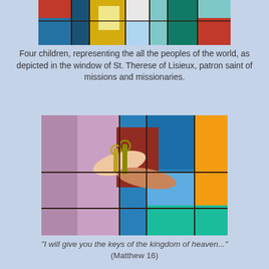[Figure (photo): Stained glass window showing four children representing the peoples of the world, from the window of St. Therese of Lisieux]
Four children, representing the all the peoples of the world, as depicted in the window of St. Therese of Lisieux, patron saint of missions and missionaries.
[Figure (photo): Stained glass window showing hands exchanging keys, depicting the keys of the kingdom of heaven]
"I will give you the keys of the kingdom of heaven..." (Matthew 16)